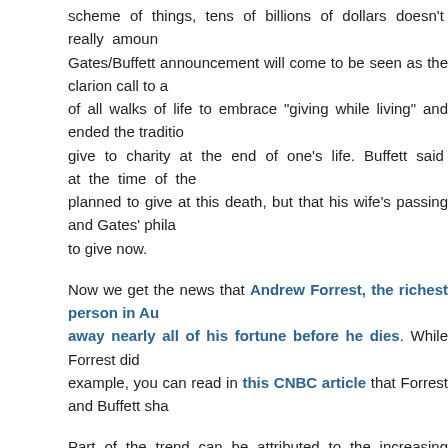scheme of things, tens of billions of dollars doesn't really amount to much. The Gates/Buffett announcement will come to be seen as the clarion call to a new era for people of all walks of life to embrace "giving while living" and ended the tradition of waiting to give to charity at the end of one's life. Buffett said at the time of the pledge he had planned to give at this death, but that his wife's passing and Gates' philanthropy inspired him to give now.
Now we get the news that Andrew Forrest, the richest person in Australia, plans to give away nearly all of his fortune before he dies. While Forrest did not cite Buffett as an example, you can read in this CNBC article that Forrest and Buffett shared...
Part of the trend can be attributed to the increasing global wealth and the ability for people to give more as they find that they have more than they need. Beyond just "doing good", both Forrest and Buffett cited another growing trend, the desire to avoid spoiling children by giving them too much wealth. Buffett's mantra is to give your children enough to do anything they want, but not so much that they can do nothing."
In my own practice as a wealth manager, I find that my clients (both the very wealthy and those who are not) are highly concerned with trying to avoid giving their children too much rather than figuring out ways to give them more. What's so interesting is that the evidence (such as that presented in the wonderful book Philanthropy:...